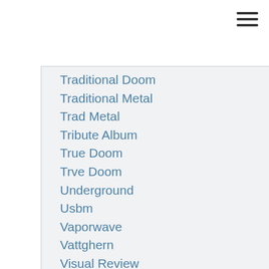[Figure (other): Hamburger menu icon (three horizontal lines) in top right corner]
Traditional Doom
Traditional Metal
Trad Metal
Tribute Album
True Doom
Trve Doom
Underground
Usbm
Vaporwave
Vattghern
Visual Review
Volt Thrower
War Metal
Weird
Zombie